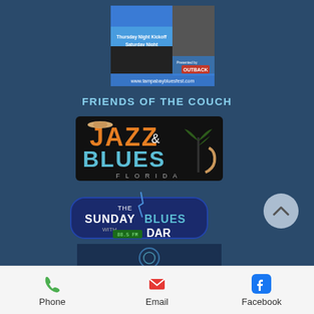[Figure (screenshot): Tampa Bay Blues Fest promotional image with text 'Thursday Night Kickoff, Saturday Night After-Party', Outback logo, and website www.tampabaybluesfest.com]
FRIENDS OF THE COUCH
[Figure (logo): Jazz & Blues Florida logo with cowboy hat, palm tree, and saxophone]
[Figure (logo): The Sunday Blues with Dar 88.5 FM logo]
[Figure (other): Partial image at bottom of main content area]
[Figure (other): Footer navigation bar with Phone (green phone icon), Email (red envelope icon), Facebook (blue Facebook icon)]